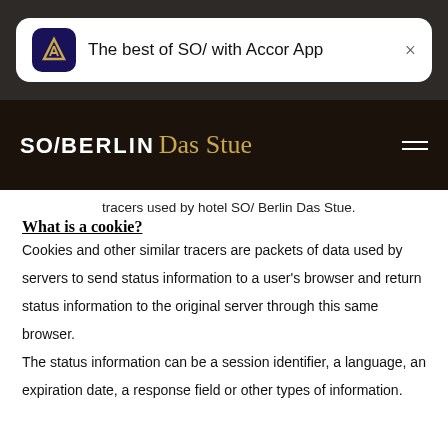[Figure (screenshot): App banner showing Accor App logo and text 'The best of SO/ with Accor App' with a close button]
[Figure (logo): SO/ BERLIN Das Stue hotel logo in white and gold on dark background with hamburger menu icon]
tracers used by hotel SO/ Berlin Das Stue.
What is a cookie?
Cookies and other similar tracers are packets of data used by servers to send status information to a user's browser and return status information to the original server through this same browser.
The status information can be a session identifier, a language, an expiration date, a response field or other types of information.